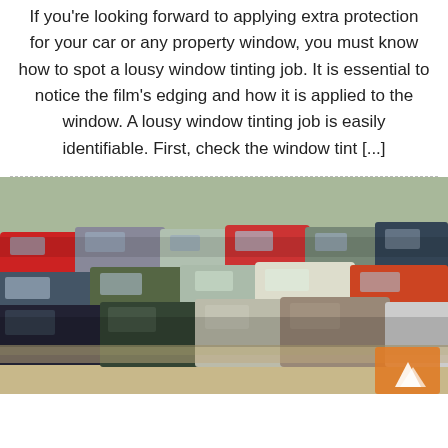If you're looking forward to applying extra protection for your car or any property window, you must know how to spot a lousy window tinting job. It is essential to notice the film's edging and how it is applied to the window. A lousy window tinting job is easily identifiable. First, check the window tint [...]
[Figure (photo): Aerial view of a large junkyard filled with densely packed wrecked and salvaged cars stacked in rows. An orange logo watermark is visible in the lower right corner.]